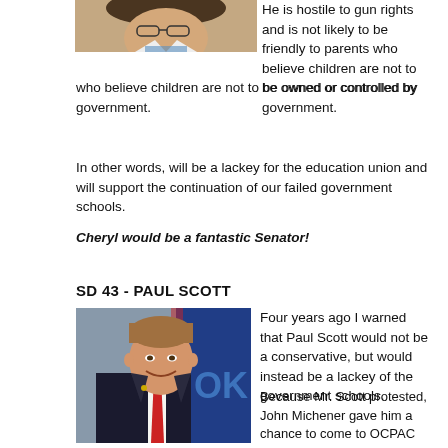[Figure (photo): Partial top portion of a person's photo, cropped at the top of the page]
He is hostile to gun rights and is not likely to be friendly to parents who believe children are not to be owned or controlled by government.
In other words, will be a lackey for the education union and will support the continuation of our failed government schools.
Cheryl would be a fantastic Senator!
SD 43 - PAUL SCOTT
[Figure (photo): Professional headshot of Paul Scott, a man in a dark suit with a red tie, smiling, with an American flag and Oklahoma flag in the background]
Four years ago I warned that Paul Scott would not be a conservative, but would instead be a lackey of the government schools.
Because Mr. Scott protested, John Michener gave him a chance to come to OCPAC and make his case. (John Michener was at the time serving as